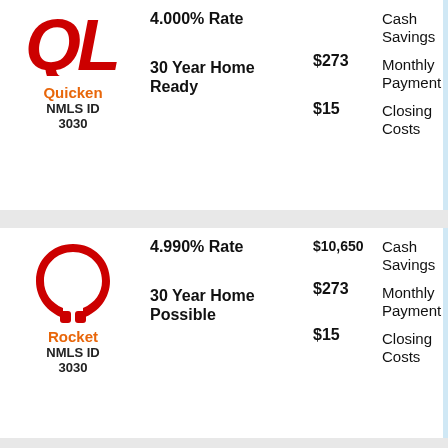| Lender | Product | Amount | Label |
| --- | --- | --- | --- |
| Quicken NMLS ID 3030 | 4.000% Rate / 30 Year Home Ready | $273 / $15 | Cash Savings / Monthly Payment / Closing Costs |
| Rocket NMLS ID 3030 | 4.990% Rate / 30 Year Home Possible | $10,650 / $273 / $15 | Cash Savings / Monthly Payment / Closing Costs |